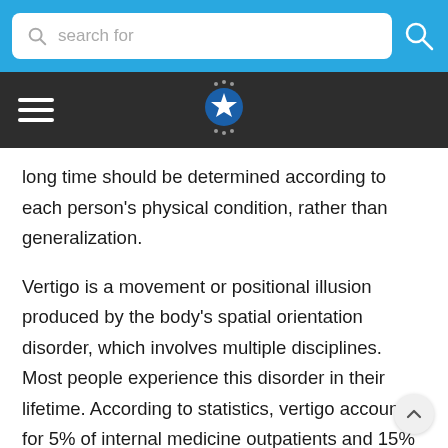[Figure (screenshot): Search bar with blue background, white rounded input field with magnifying glass icon and placeholder text 'search for', and a search button on the right]
[Figure (logo): Dark navigation bar with hamburger menu icon on the left and a circular star logo in the center on dark background]
long time should be determined according to each person's physical condition, rather than generalization.
Vertigo is a movement or positional illusion produced by the body's spatial orientation disorder, which involves multiple disciplines. Most people experience this disorder in their lifetime. According to statistics, vertigo accounts for 5% of internal medicine outpatients and 15% of otolaryngology outpatients. Vertigo can be divided into true vertigo and pseudo vertigo. True vertigo is caused by a disorder of the eye,